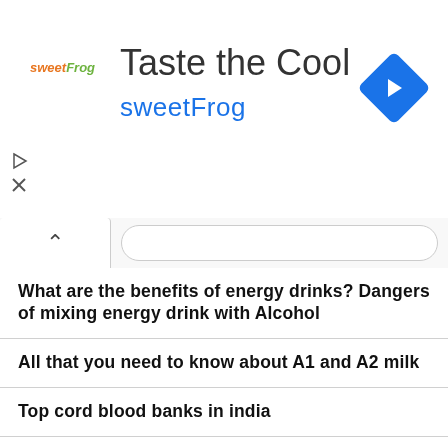[Figure (logo): sweetFrog advertisement banner with logo, 'Taste the Cool' title and 'sweetFrog' subtitle, navigation diamond icon, and play/close buttons]
What are the benefits of energy drinks? Dangers of mixing energy drink with Alcohol
All that you need to know about A1 and A2 milk
Top cord blood banks in india
Best eye relaxation techniques
Benefits of coconut oil over human beings
How to avoid the unplanned pregnancy
Causes for female bigger breast & remedies
How to get sound sleep every night by eating best